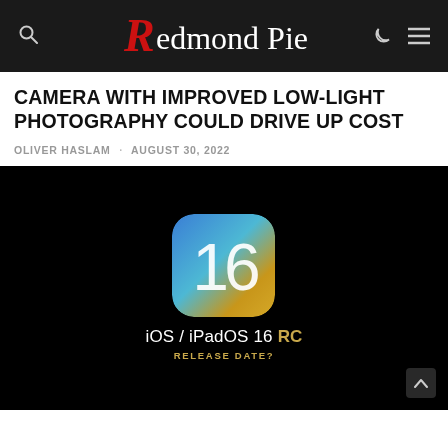Redmond Pie
CAMERA WITH IMPROVED LOW-LIGHT PHOTOGRAPHY COULD DRIVE UP COST
OLIVER HASLAM · AUGUST 30, 2022
[Figure (screenshot): iOS / iPadOS 16 RC Release Date promotional image on a black background, showing the iOS 16 app icon (blue gradient with number 16) and text below it.]